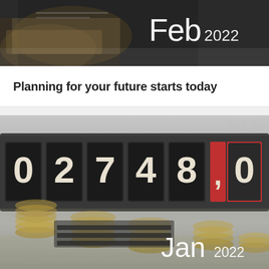[Figure (photo): Partial top of a page showing 'Feb 2022' text overlay on a dark/blurred background image (person with documents)]
Planning for your future starts today
[Figure (photo): Close-up of an electricity meter showing digits 0 2 7 4 8 , 0 with kWh label, with coins blurred in foreground. 'Jan 2022' text overlay in bottom right.]